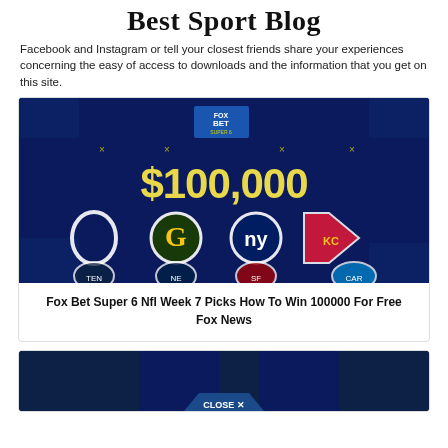Best Sport Blog
Facebook and Instagram or tell your closest friends share your experiences concerning the easy of access to downloads and the information that you get on this site.
[Figure (photo): Fox Bet Super 6 promotional image showing $100,000 prize with NFL team logos (Colts, Packers, Giants, Chiefs, Titans, Patriots, 49ers, Panthers) on a dark blue background with gold/yellow text]
Fox Bet Super 6 Nfl Week 7 Picks How To Win 100000 For Free Fox News
[Figure (photo): Partial image of a dark blue sports betting promotional banner with a CLOSE X button visible at the bottom]